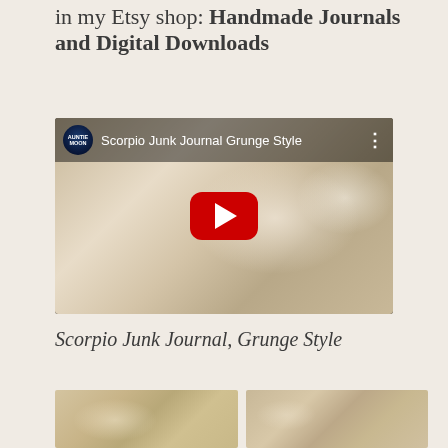in my Etsy shop: Handmade Journals and Digital Downloads
[Figure (screenshot): YouTube video thumbnail showing a handmade junk journal with floral fabric cover on a white lace cloth background. Video title: Scorpio Junk Journal Grunge Style. Channel: Auntie Moon.]
Scorpio Junk Journal, Grunge Style
[Figure (photo): Two side-by-side photos at bottom of page showing handmade journal with lace and floral fabric, partially cropped.]